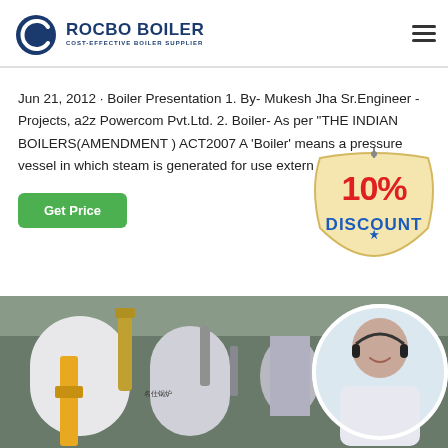ROCBO BOILER — COST-EFFECTIVE BOILER SUPPLIER
Jun 21, 2012 · Boiler Presentation 1. By- Mukesh Jha Sr.Engineer - Projects, a2z Powercom Pvt.Ltd. 2. Boiler- As per "THE INDIAN BOILERS(AMENDMENT ) ACT2007 A 'Boiler' means a pressure vessel in which steam is generated for use extern...
[Figure (illustration): 10% DISCOUNT badge/tag graphic with red and blue text on a cream/tan hanging tag shape]
[Figure (photo): Industrial boiler equipment in a facility on the left side, and a smiling customer service representative with a headset in a circular frame on the right side]